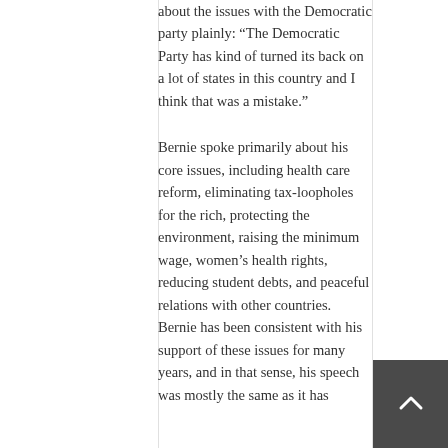about the issues with the Democratic party plainly: “The Democratic Party has kind of turned its back on a lot of states in this country and I think that was a mistake.”
Bernie spoke primarily about his core issues, including health care reform, eliminating tax-loopholes for the rich, protecting the environment, raising the minimum wage, women’s health rights, reducing student debts, and peaceful relations with other countries. Bernie has been consistent with his support of these issues for many years, and in that sense, his speech was mostly the same as it has